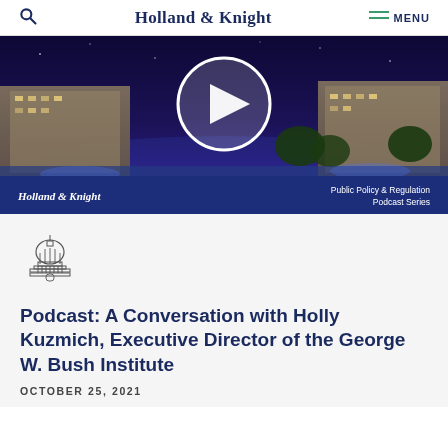Holland & Knight  MENU
[Figure (screenshot): Video thumbnail showing a nighttime image of the U.S. Capitol building with a play button overlay. Bottom bar reads 'Holland & Knight' and 'Public Policy & Regulation Podcast Series']
[Figure (illustration): Capitol building icon outline illustration]
Podcast: A Conversation with Holly Kuzmich, Executive Director of the George W. Bush Institute
OCTOBER 25, 2021